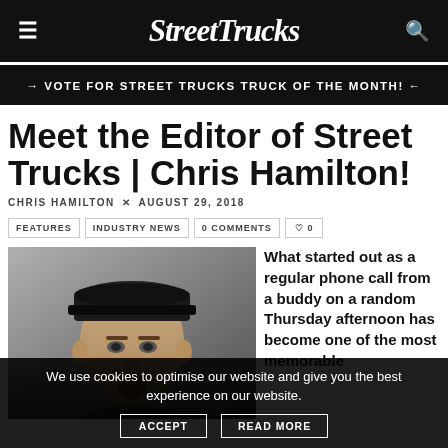StreetTrucks
→ VOTE FOR STREET TRUCKS TRUCK OF THE MONTH! ←
Meet the Editor of Street Trucks | Chris Hamilton!
CHRIS HAMILTON × AUGUST 29, 2018
FEATURES
INDUSTRY NEWS
0 COMMENTS
♡ 0
[Figure (photo): Portrait photo of Chris Hamilton, a man wearing a black cap, against a grey background]
What started out as a regular phone call from a buddy on a random Thursday afternoon has become one of the most memorable
We use cookies to optimise our website and give you the best experience on our website.
ACCEPT
READ MORE